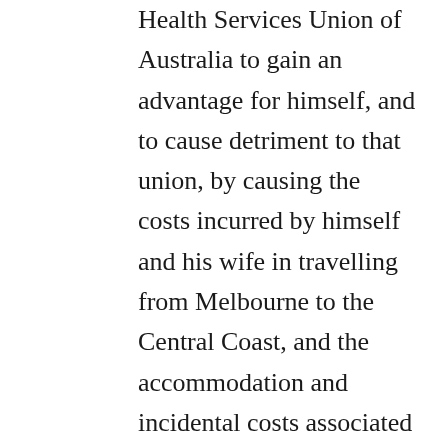Health Services Union of Australia to gain an advantage for himself, and to cause detriment to that union, by causing the costs incurred by himself and his wife in travelling from Melbourne to the Central Coast, and the accommodation and incidental costs associated with that travel, over the period 16-19 September 2005, in the sum of $3,575.68, to be paid by that